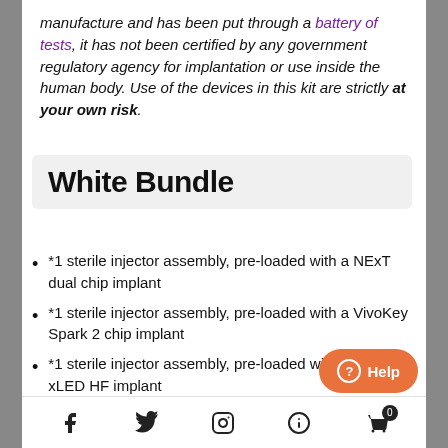manufacture and has been put through a battery of tests, it has not been certified by any government regulatory agency for implantation or use inside the human body. Use of the devices in this kit are strictly at your own risk.
White Bundle
*1 sterile injector assembly, pre-loaded with a NExT dual chip implant
*1 sterile injector assembly, pre-loaded with a VivoKey Spark 2 chip implant
*1 sterile injector assembly, pre-loaded with a white xLED HF implant
6 single use ChloraPrep antiseptic win...
[Figure (other): Page footer with social media icons: Facebook, Twitter, Instagram, Help/question mark, and shopping cart with badge showing 0]